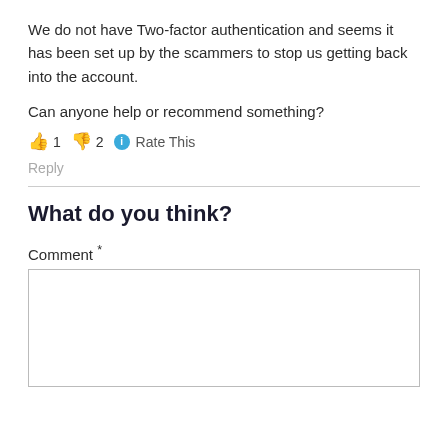We do not have Two-factor authentication and seems it has been set up by the scammers to stop us getting back into the account.
Can anyone help or recommend something?
👍 1 👎 2 ℹ Rate This
Reply
What do you think?
Comment *